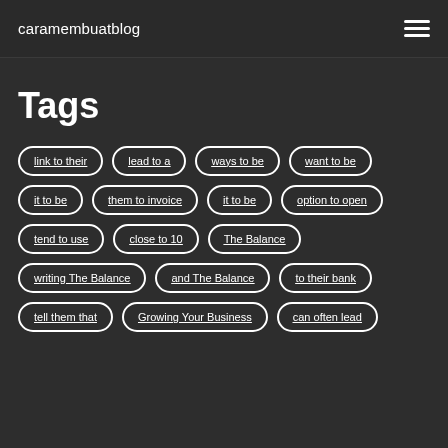caramembuatblog
Tags
link to their
lead to a
ways to be
want to be
it to be
them to invoice
it to be
option to open
tend to use
close to 10
The Balance
writing The Balance
and The Balance
to their bank
tell them that
Growing Your Business
can often lead